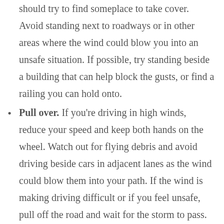Take shelter. If you're unable to go indoors, you should try to find someplace to take cover. Avoid standing next to roadways or in other areas where the wind could blow you into an unsafe situation. If possible, try standing beside a building that can help block the gusts, or find a railing you can hold onto.
Pull over. If you're driving in high winds, reduce your speed and keep both hands on the wheel. Watch out for flying debris and avoid driving beside cars in adjacent lanes as the wind could blow them into your path. If the wind is making driving difficult or if you feel unsafe, pull off the road and wait for the storm to pass. Just be sure to keep your hazard lights on and park away from trees or other objects that could fall on your vehicle.